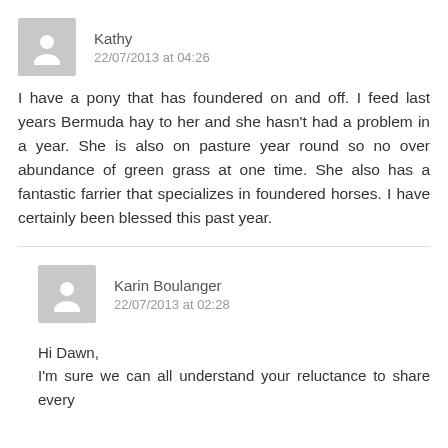Kathy
22/07/2013 at 04:26
I have a pony that has foundered on and off. I feed last years Bermuda hay to her and she hasn't had a problem in a year. She is also on pasture year round so no over abundance of green grass at one time. She also has a fantastic farrier that specializes in foundered horses. I have certainly been blessed this past year.
Karin Boulanger
22/07/2013 at 02:28
Hi Dawn,
I'm sure we can all understand your reluctance to share every